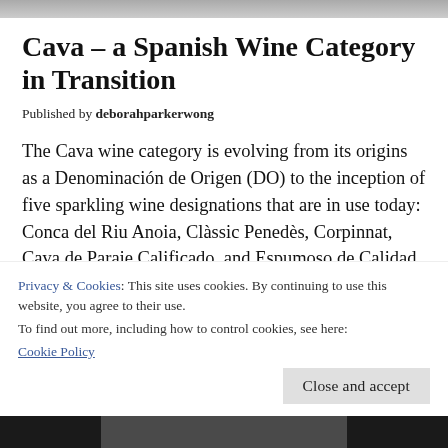[Figure (photo): Top image banner, partially cropped]
Cava – a Spanish Wine Category in Transition
Published by deborahparkerwong
The Cava wine category is evolving from its origins as a Denominación de Origen (DO) to the inception of five sparkling wine designations that are in use today: Conca del Riu Anoia, Clàssic Penedès, Corpinnat, Cava de Paraje Calificado, and Espumoso de Calidad de Rioja. These designations seek to improve the overall quality and...
Privacy & Cookies: This site uses cookies. By continuing to use this website, you agree to their use.
To find out more, including how to control cookies, see here: Cookie Policy
[Figure (screenshot): Bottom image bar, dark background with lighter center panel]